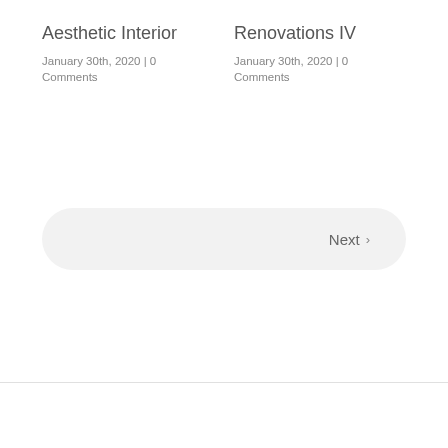Aesthetic Interior
January 30th, 2020 | 0 Comments
Renovations IV
January 30th, 2020 | 0 Comments
Next >